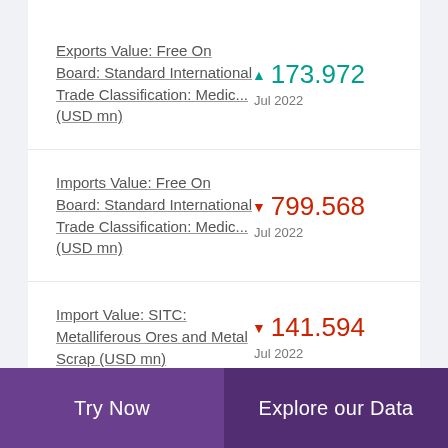Exports Value: Free On Board: Standard International Trade Classification: Medic... (USD mn)
Imports Value: Free On Board: Standard International Trade Classification: Medic... (USD mn)
Import Value: SITC: Metalliferous Ores and Metal Scrap (USD mn)
Try Now | Explore our Data